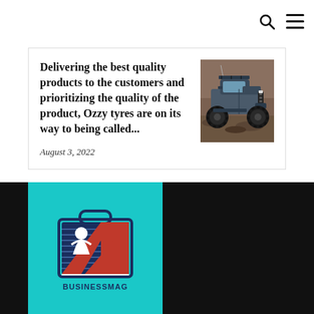Delivering the best quality products to the customers and prioritizing the quality of the product, Ozzy tyres are on its way to being called...
August 3, 2022
[Figure (photo): An off-road 4x4 truck/SUV on rugged terrain with large tyres, viewed from the front-left angle]
[Figure (logo): BusinessMag logo on a teal/cyan background featuring a briefcase icon with a stylized person and red accent, with text BUSINESSMAG below]